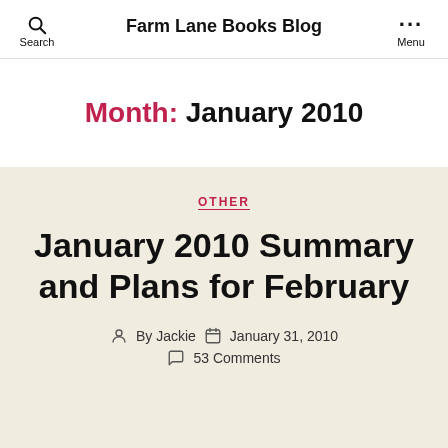Farm Lane Books Blog
Month: January 2010
OTHER
January 2010 Summary and Plans for February
By Jackie  January 31, 2010  53 Comments